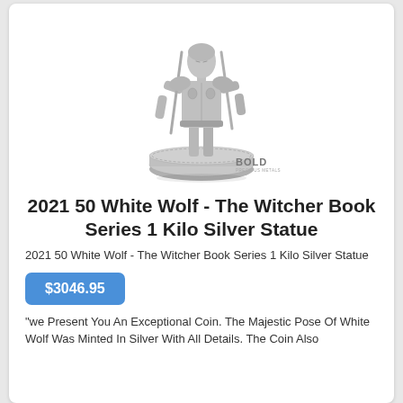[Figure (photo): Silver statue of the Witcher White Wolf figure standing on a coin base, with swords on back, metallic silver finish. BOLD precious metals logo watermark in lower right.]
2021 50 White Wolf - The Witcher Book Series 1 Kilo Silver Statue
2021 50 White Wolf - The Witcher Book Series 1 Kilo Silver Statue
$3046.95
"we Present You An Exceptional Coin. The Majestic Pose Of White Wolf Was Minted In Silver With All Details. The Coin Also